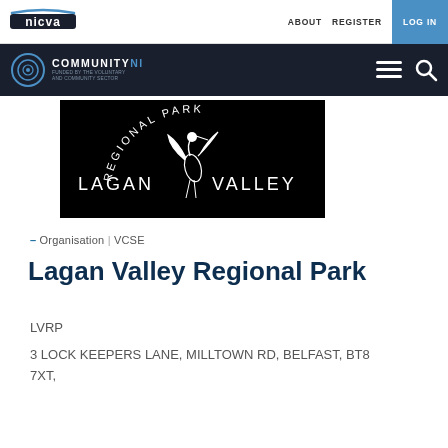ABOUT  REGISTER  LOG IN
COMMUNITYNI
[Figure (logo): Lagan Valley Regional Park logo — black background with white heron bird and arc text reading REGIONAL PARK above, LAGAN VALLEY below]
– Organisation | VCSE
Lagan Valley Regional Park
LVRP
3 LOCK KEEPERS LANE, MILLTOWN RD, BELFAST, BT8 7XT,